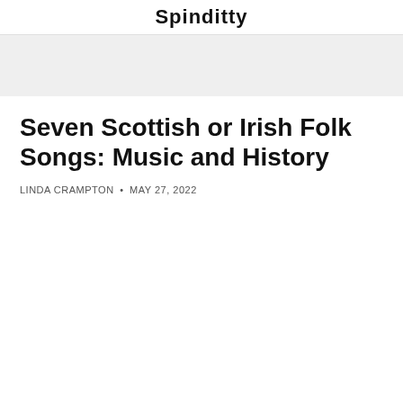Spinditty
Seven Scottish or Irish Folk Songs: Music and History
LINDA CRAMPTON • MAY 27, 2022